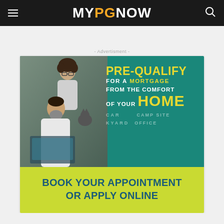MYPGNOW
- Advertisment -
[Figure (infographic): Mortgage pre-qualification advertisement from a financial institution. Top section shows a teal background with a photo of two people (man and woman with cat) and bold text: PRE-QUALIFY FOR A MORTGAGE FROM THE COMFORT OF YOUR HOME, with faded text showing CAR, CAMP SITE, BACKYARD, OFFICE. Bottom yellow-green section reads: BOOK YOUR APPOINTMENT OR APPLY ONLINE.]